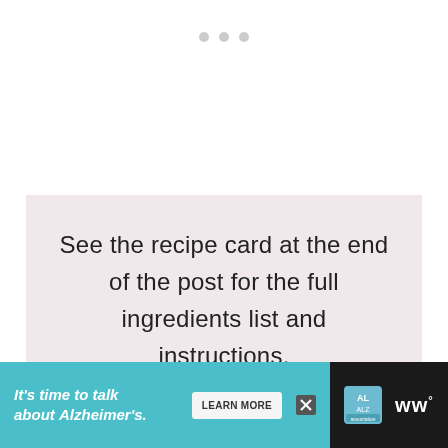[Figure (other): Three small grey dots / loading indicator at the top of the page on white background]
See the recipe card at the end of the post for the full ingredients list and instructions.
[Figure (other): Advertisement banner: 'It's time to talk about Alzheimer's.' with LEARN MORE button, Alzheimer's Association logo, and WW logo on dark background with teal section]